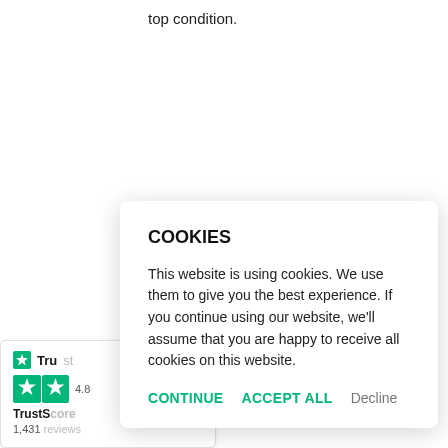top condition.
[Figure (other): Trustpilot widget showing star rating, TrustScore and 1,431 reviews]
COOKIES
This website is using cookies. We use them to give you the best experience. If you continue using our website, we'll assume that you are happy to receive all cookies on this website.
CONTINUE   ACCEPT ALL   Decline